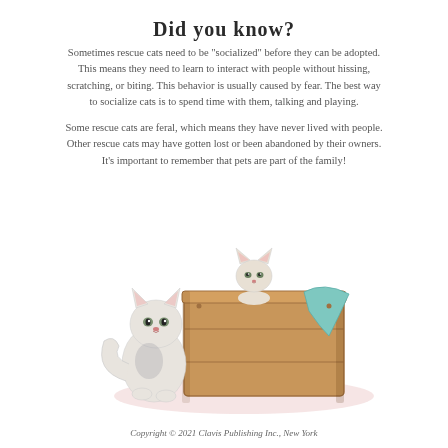Did you know?
Sometimes rescue cats need to be "socialized" before they can be adopted. This means they need to learn to interact with people without hissing, scratching, or biting. This behavior is usually caused by fear. The best way to socialize cats is to spend time with them, talking and playing.
Some rescue cats are feral, which means they have never lived with people. Other rescue cats may have gotten lost or been abandoned by their owners. It's important to remember that pets are part of the family!
[Figure (illustration): Watercolor illustration of two white cats with a wooden crate. A small white kitten peeks over the top edge of a wooden crate with a teal cloth draped over one side. A larger white cat sits on the left side, looking up. The scene has a soft pink ground shadow.]
Copyright © 2021 Clavis Publishing Inc., New York